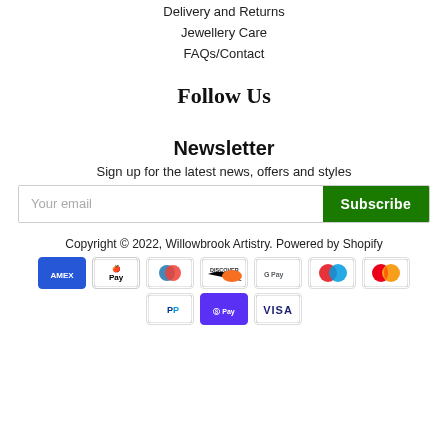Delivery and Returns
Jewellery Care
FAQs/Contact
Follow Us
Newsletter
Sign up for the latest news, offers and styles
Your email | Subscribe
Copyright © 2022, Willowbrook Artistry. Powered by Shopify
[Figure (other): Payment method icons: American Express, Apple Pay, Diners Club, Discover, Google Pay, Maestro, Mastercard, PayPal, Shop Pay, Visa]